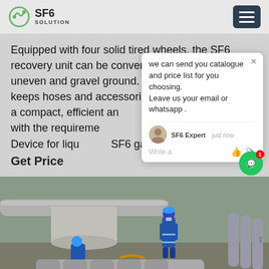SF6 SOLUTION
Equipped with four solid tired wheels, the SF6 recovery unit can be conveniently moved on uneven and gravel ground. The integrated tool box keeps hoses and accessories tidy. The B143R11 is a compact, efficient and reliable device complying with the requirements in the field. Other features: Device for liquefying SF6 gas
Get Price
[Figure (screenshot): Chat popup overlay showing message: 'we can send you catalogue and price list for you choosing. Leave us your email or whatsapp.' with SF6 Expert avatar and 'just now' timestamp, write input area with thumbs up and paperclip icons. Green circular chat button with red badge showing '1' notification.]
[Figure (photo): Industrial outdoor scene showing workers in blue coveralls and helmets handling gas cylinders/equipment at an industrial facility with large pressure vessels and pipes in the background.]